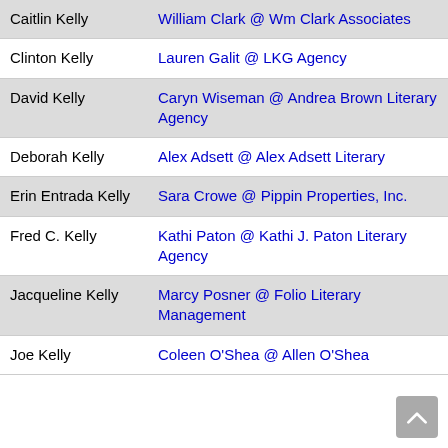| Author | Agent |
| --- | --- |
| Caitlin Kelly | William Clark @ Wm Clark Associates |
| Clinton Kelly | Lauren Galit @ LKG Agency |
| David Kelly | Caryn Wiseman @ Andrea Brown Literary Agency |
| Deborah Kelly | Alex Adsett @ Alex Adsett Literary |
| Erin Entrada Kelly | Sara Crowe @ Pippin Properties, Inc. |
| Fred C. Kelly | Kathi Paton @ Kathi J. Paton Literary Agency |
| Jacqueline Kelly | Marcy Posner @ Folio Literary Management |
| Joe Kelly | Coleen O'Shea @ Allen O'Shea |